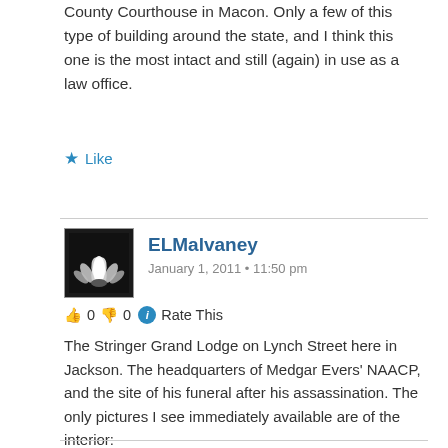County Courthouse in Macon. Only a few of this type of building around the state, and I think this one is the most intact and still (again) in use as a law office.
Like
ELMalvaney
January 1, 2011 • 11:50 pm
👍 0 👎 0 ℹ Rate This
The Stringer Grand Lodge on Lynch Street here in Jackson. The headquarters of Medgar Evers' NAACP, and the site of his funeral after his assassination. The only pictures I see immediately available are of the interior:
http://www.mwstringergl.org/ and click on Gallery. Here's a historic photo showing at least most of the facade:
http://westjxn.com/2010/11/18/westerday-trivia-answer-the-mississippi-free-press/
Like